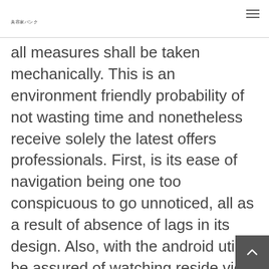美容家バンク
all measures shall be taken mechanically. This is an environment friendly probability of not wasting time and nonetheless receive solely the latest offers professionals. First, is its ease of navigation being one too conspicuous to go unnoticed, all as a result of absence of lags in its design. Also, with the android utility, be assured of watching reside video games, and likewise observe your video video games concurrently.